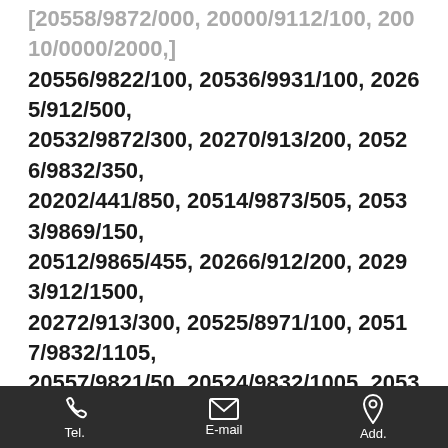20556/9822/100, 20536/9931/100, 20265/912/500, 20532/9872/300, 20270/913/200, 20526/9832/350, 20202/441/850, 20514/9873/505, 20533/9869/150, 20512/9865/455, 20266/912/200, 20293/912/1500, 20272/913/300, 20525/8971/100, 20517/9832/1105, 20557/9821/50, 20524/9832/1005, 20532/9834/150, 20269/912/1600, 20268/897/200, 20274/982/1550, 20516/9121/205, 20264/622/150, 20271/371/250, 20518/9931/655, 20270/990/100, 20545/9821/150, 20509/9822/105, 20264/982/1250, 20549/9825/150, 20514/9825/105, 20545/9832/550, 20269/916/100, 20522/9872/105, 20535/9821/100, 20510/9872/455, 20513/9835/2705, 20512/9836/505, 20528/9865/1550, 20520/9834/200, 20504/9931/605, 20529/9121/150,
Tel.  E-mail  Add.